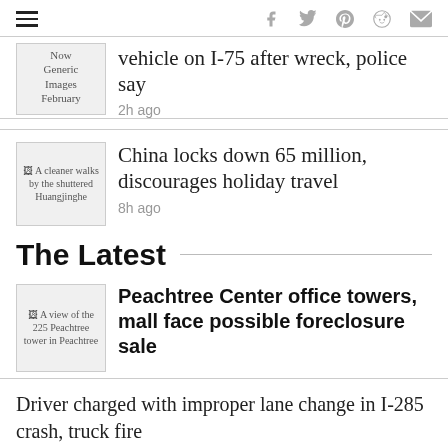Navigation and social icons bar
vehicle on I-75 after wreck, police say
2h ago
[Figure (photo): Now Generic Images February - thumbnail]
China locks down 65 million, discourages holiday travel
8h ago
[Figure (photo): A cleaner walks by the shuttered Huangjinghe - thumbnail]
The Latest
Peachtree Center office towers, mall face possible foreclosure sale
[Figure (photo): A view of the 225 Peachtree tower in Peachtree - thumbnail]
Driver charged with improper lane change in I-285 crash, truck fire